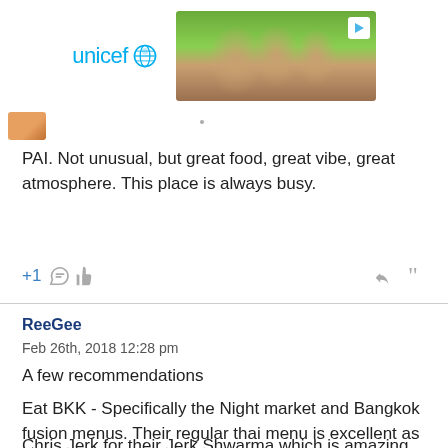[Figure (photo): UNICEF advertisement banner showing logo on left and photo of smiling African children in school uniforms with green hats on right, with play button overlay]
PAI. Not unusual, but great food, great vibe, great atmosphere. This place is always busy.
+1 [thumbs up icon] [reply icon] [quote icon]
ReeGee
Feb 26th, 2018 12:28 pm
A few recommendations
Eat BKK - Specifically the Night market and Bangkok fusion menus. Their regular thai menu is excellent as well and my favorite Thai in the city.
Chris Jerk for their Jerk Shwarma which is amazing